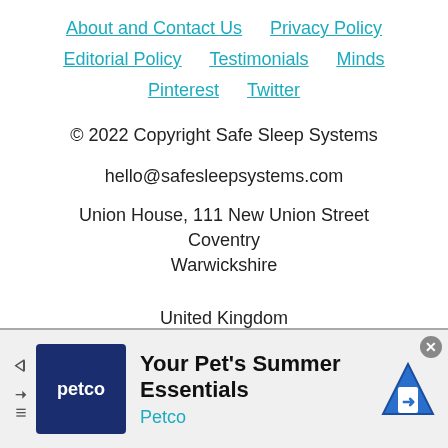About and Contact Us | Privacy Policy | Editorial Policy | Testimonials | Minds | Pinterest | Twitter
© 2022 Copyright Safe Sleep Systems
hello@safesleepsystems.com
Union House, 111 New Union Street
Coventry
Warwickshire
United Kingdom
[Figure (infographic): Petco advertisement banner: 'Your Pet's Summer Essentials' with Petco logo on dark blue background and a navigation/map icon on the right. Close button (X) in top right. Skip buttons on left side.]